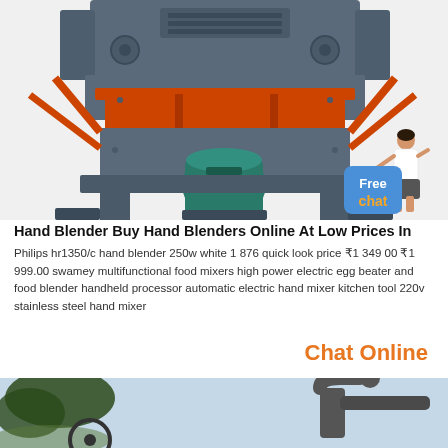[Figure (photo): Industrial crushing machine with gray body, red orange frame supports, and green motor at base]
[Figure (illustration): Small cartoon woman in white blouse pointing, with blue rounded rectangle badge reading Free chat]
Hand Blender Buy Hand Blenders Online At Low Prices In
Philips hr1350/c hand blender 250w white 1 876 quick look price ₹1 349 00 ₹1 999.00 swamey multifunctional food mixers high power electric egg beater and food blender handheld processor automatic electric hand mixer kitchen tool 220v stainless steel hand mixer
Chat Online
[Figure (photo): Outdoor industrial equipment with dark cyclone separator and trees in background, light blue sky]